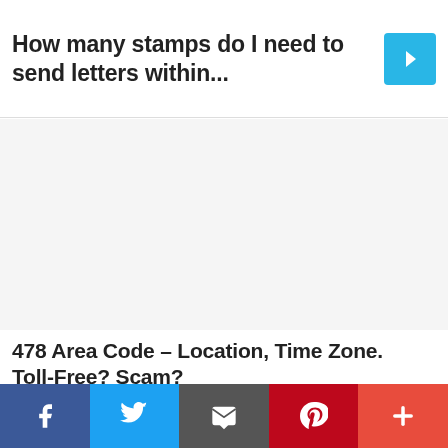How many stamps do I need to send letters within...
[Figure (other): Advertisement/blank white space area]
478 Area Code – Location, Time Zone. Toll-Free? Scam?
[Figure (photo): Airline cargo plane being loaded, with 'WITHOUT REGARD TO POLITICS, RELIGION OR ABILITY TO PAY' overlay text on dark background]
[Figure (other): Social media share bar with Facebook, Twitter, Email, Pinterest, and More buttons]